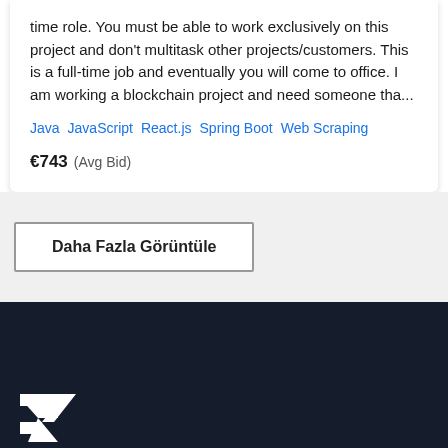time role. You must be able to work exclusively on this project and don't multitask other projects/customers. This is a full-time job and eventually you will come to office. I am working a blockchain project and need someone tha...
Java  JavaScript  React.js  Spring Boot  Web Scraping
€743  (Avg Bid)
Daha Fazla Görüntüle
[Figure (logo): Freelancer logo mark in white on dark navy background]
Türkçe - Turkey